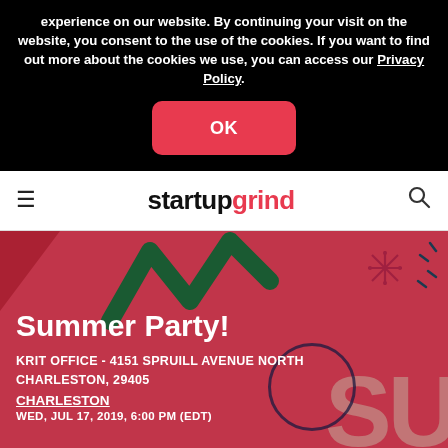experience on our website. By continuing your visit on the website, you consent to the use of the cookies. If you want to find out more about the cookies we use, you can access our Privacy Policy.
OK
[Figure (screenshot): Startup Grind navigation bar with hamburger menu, startup grind logo (startup in black, grind in red), and search icon]
[Figure (illustration): Event banner with dark red/pink background, decorative green zigzag arrow, star burst decorations, large 'SU' text in beige, circle outline, showing Summer Party event details]
Summer Party!
KRIT OFFICE - 4151 SPRUILL AVENUE NORTH CHARLESTON, 29405
CHARLESTON
WED, JUL 17, 2019, 6:00 PM (EDT)